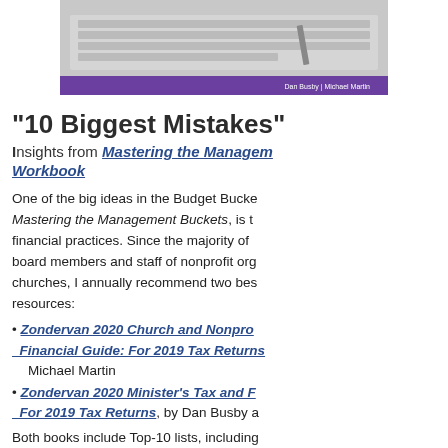[Figure (photo): Book cover photo showing a laptop/keyboard with a purple author bar at the bottom reading 'Dan Busby | Michael Martin']
“10 Biggest Mistakes”
Insights from Mastering the Management Buckets Workbook
One of the big ideas in the Budget Bucket—Mastering the Management Buckets, is to financial practices. Since the majority of board members and staff of nonprofit org churches, I annually recommend two bes resources:
• Zondervan 2020 Church and Nonprofit Financial Guide: For 2019 Tax Returns Michael Martin
• Zondervan 2020 Minister’s Tax and Financial Guide: For 2019 Tax Returns, by Dan Busby a
Both books include Top-10 lists, including and Financial Mistakes,” “10 Tax and Fi Most Frequently Asked by Churches and (for the minister’s guide), “10 Biggest T